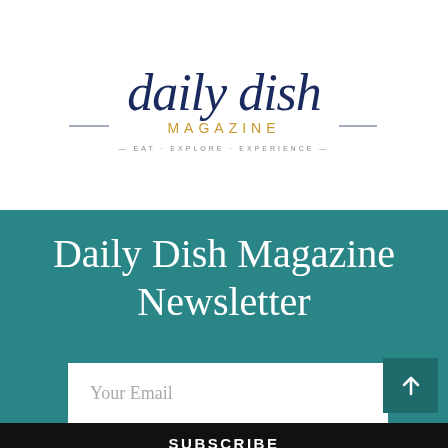[Figure (logo): Daily Dish Magazine logo with cursive 'daily dish' in navy blue, 'MAGAZINE' in gold/yellow caps, and tagline '— EAT · EXPLORE · EXPERIENCE —' in small caps]
Daily Dish Magazine Newsletter
Your Email
SUBSCRIBE